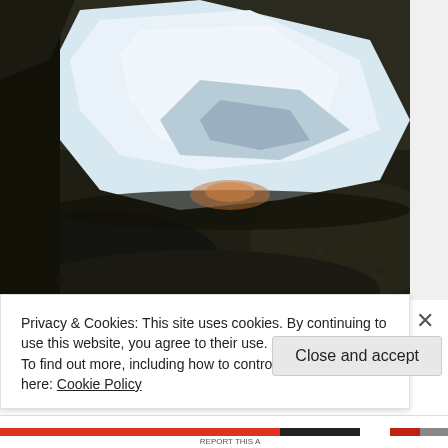[Figure (photo): Close-up photograph of a white/light-blue irregular shaped piece (possibly ice or mineral) resting on a dark textured surface, with dark rocky or soil background visible beneath and around it.]
Privacy & Cookies: This site uses cookies. By continuing to use this website, you agree to their use.
To find out more, including how to control cookies, see here: Cookie Policy
Close and accept